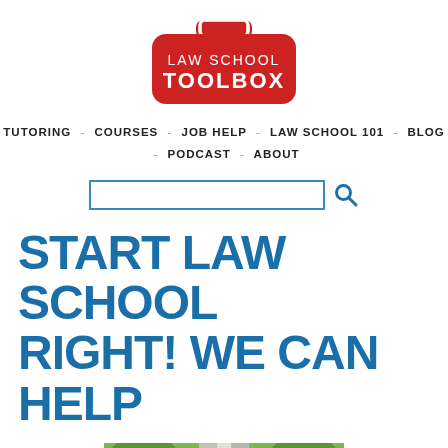[Figure (logo): Law School Toolbox logo — red rounded rectangle with a handle on top, white text reading LAW SCHOOL TOOLBOX]
TUTORING - COURSES - JOB HELP - LAW SCHOOL 101 - BLOG - PODCAST - ABOUT
START LAW SCHOOL RIGHT! WE CAN HELP
[Figure (photo): Partial photo at bottom of page showing green foliage and what appears to be white columns or pillars]